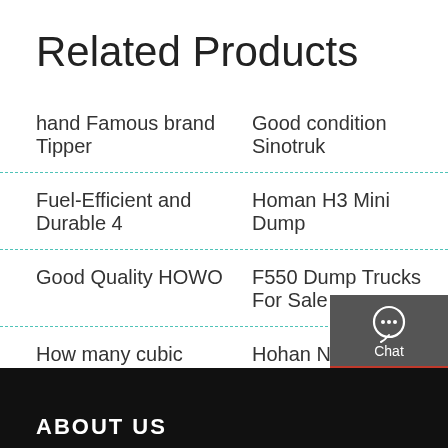Related Products
hand Famous brand Tipper
Good condition Sinotruk
Fuel-Efficient and Durable 4
Homan H3 Mini Dump
Good Quality HOWO
F550 Dump Trucks For Sale
How many cubic yards of
Hohan New Type 10
[Figure (infographic): Sidebar panel with dark gray background containing four icons with labels: Chat (headset icon), Email (envelope icon), Contact (speech bubble icon), Top (upward arrow icon). Each separated by a red horizontal line.]
ABOUT US